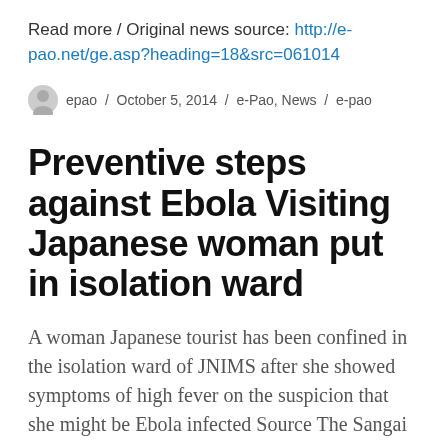Read more / Original news source: http://e-pao.net/ge.asp?heading=18&src=061014
epao / October 5, 2014 / e-Pao, News / e-pao
Preventive steps against Ebola Visiting Japanese woman put in isolation ward
A woman Japanese tourist has been confined in the isolation ward of JNIMS after she showed symptoms of high fever on the suspicion that she might be Ebola infected Source The Sangai